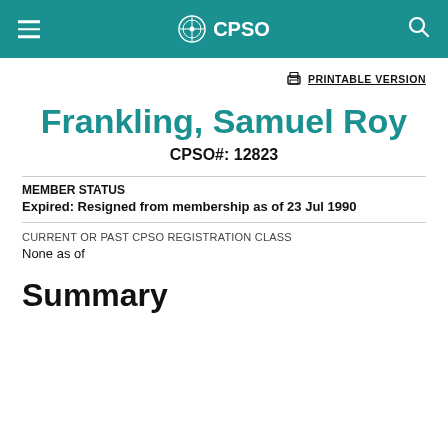CPSO
PRINTABLE VERSION
Frankling, Samuel Roy
CPSO#: 12823
MEMBER STATUS
Expired: Resigned from membership as of 23 Jul 1990
CURRENT OR PAST CPSO REGISTRATION CLASS
None as of
Summary